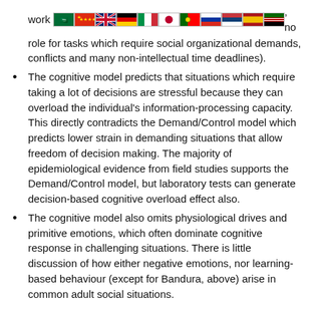work … no role for tasks which require social organizational demands, conflicts and many non-intellectual time deadlines).
The cognitive model predicts that situations which require taking a lot of decisions are stressful because they can overload the individual's information-processing capacity. This directly contradicts the Demand/Control model which predicts lower strain in demanding situations that allow freedom of decision making. The majority of epidemiological evidence from field studies supports the Demand/Control model, but laboratory tests can generate decision-based cognitive overload effect also.
The cognitive model also omits physiological drives and primitive emotions, which often dominate cognitive response in challenging situations. There is little discussion of how either negative emotions, nor learning-based behaviour (except for Bandura, above) arise in common adult social situations.